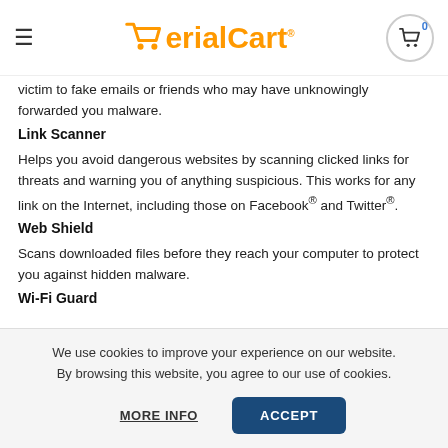SerialCart
victim to fake emails or friends who may have unknowingly forwarded you malware.
Link Scanner
Helps you avoid dangerous websites by scanning clicked links for threats and warning you of anything suspicious. This works for any link on the Internet, including those on Facebook® and Twitter®.
Web Shield
Scans downloaded files before they reach your computer to protect you against hidden malware.
Wi-Fi Guard
We use cookies to improve your experience on our website. By browsing this website, you agree to our use of cookies.
MORE INFO   ACCEPT